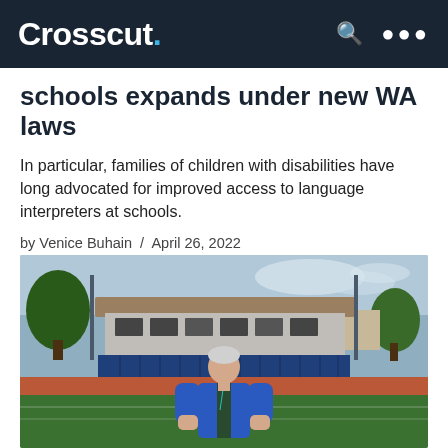Crosscut.
schools expands under new WA laws
In particular, families of children with disabilities have long advocated for improved access to language interpreters at schools.
by Venice Buhain / April 26, 2022
[Figure (photo): A man in a blue zip-up jacket standing on a grass athletic field with a large stadium grandstand structure in the background]